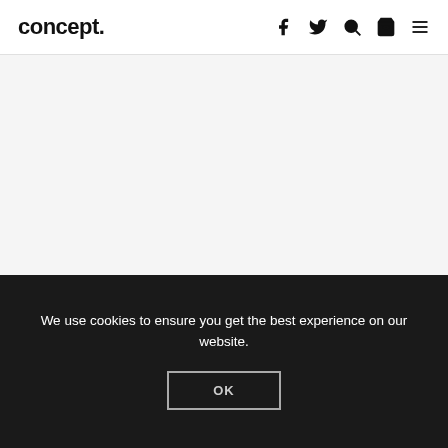concept.
[Figure (screenshot): Light grey empty content area below the navigation header]
We use cookies to ensure you get the best experience on our website.
OK